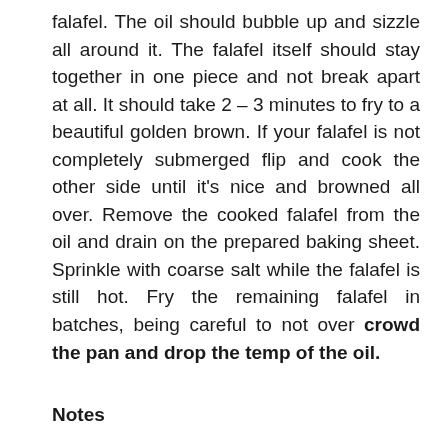falafel. The oil should bubble up and sizzle all around it. The falafel itself should stay together in one piece and not break apart at all. It should take 2 – 3 minutes to fry to a beautiful golden brown. If your falafel is not completely submerged flip and cook the other side until it's nice and browned all over. Remove the cooked falafel from the oil and drain on the prepared baking sheet. Sprinkle with coarse salt while the falafel is still hot. Fry the remaining falafel in batches, being careful to not over crowd the pan and drop the temp of the oil.
Notes